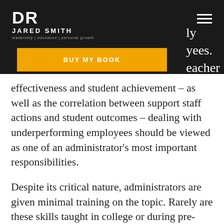DR JARED SMITH | leadership | education | personal growth
BUY MY BOOK
effectiveness and student achievement – as well as the correlation between support staff actions and student outcomes – dealing with underperforming employees should be viewed as one of an administrator's most important responsibilities.
Despite its critical nature, administrators are given minimal training on the topic. Rarely are these skills taught in college or during pre-service training, meaning leaders must